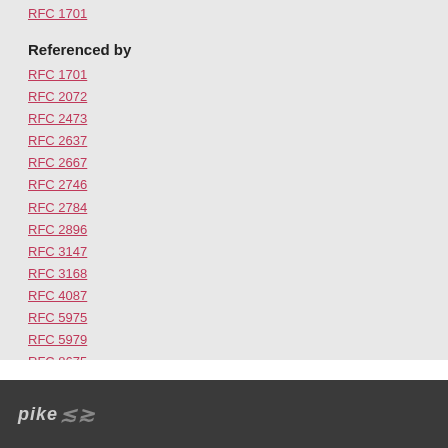RFC 1701
Referenced by
RFC 1701
RFC 2072
RFC 2473
RFC 2637
RFC 2667
RFC 2746
RFC 2784
RFC 2896
RFC 3147
RFC 3168
RFC 4087
RFC 5975
RFC 5979
RFC 8675
RFC 9181
pike